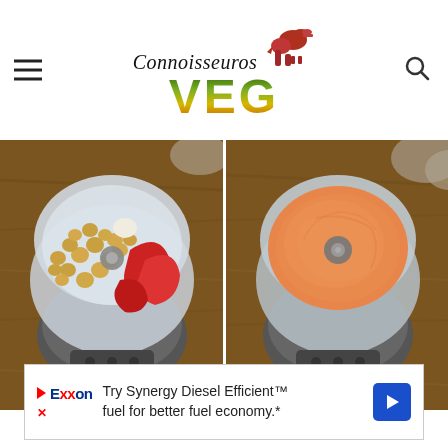Connoisseuros VEG (logo with dinosaur)
[Figure (photo): Two side-by-side overhead photos of a food processor. Left: food processor bowl containing chickpeas and red roasted peppers before blending. Right: food processor bowl with smooth orange blended hummus/dip after blending. Both on wooden surface.]
[Figure (advertisement): Exxon advertisement: Try Synergy Diesel Efficient fuel for better fuel economy.*]